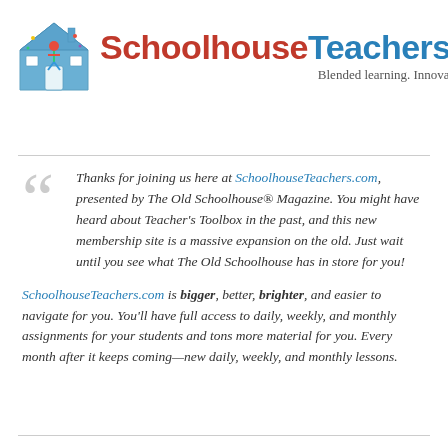[Figure (logo): SchoolhouseTeachers.com logo with a blue house icon and the brand name in red and blue, with tagline 'Blended learning. Innovative education.' in cursive]
Thanks for joining us here at SchoolhouseTeachers.com, presented by The Old Schoolhouse® Magazine. You might have heard about Teacher's Toolbox in the past, and this new membership site is a massive expansion on the old. Just wait until you see what The Old Schoolhouse has in store for you!
SchoolhouseTeachers.com is bigger, better, brighter, and easier to navigate for you. You'll have full access to daily, weekly, and monthly assignments for your students and tons more material for you. Every month after it keeps coming—new daily, weekly, and monthly lessons.